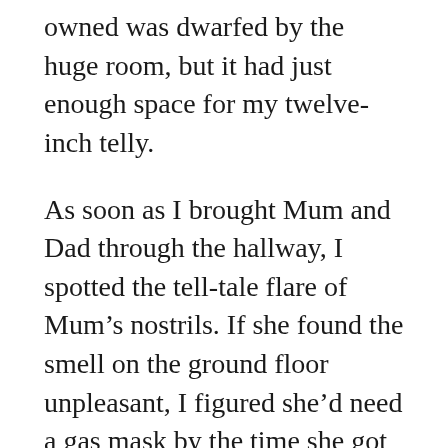owned was dwarfed by the huge room, but it had just enough space for my twelve-inch telly.
As soon as I brought Mum and Dad through the hallway, I spotted the tell-tale flare of Mum's nostrils. If she found the smell on the ground floor unpleasant, I figured she'd need a gas mask by the time she got to my room. Dad trailed behind us in his golf club blazer which he kept pressed and ready for weekend outings. I'd never imagined my place being on his list of must-see destinations but at least he'd